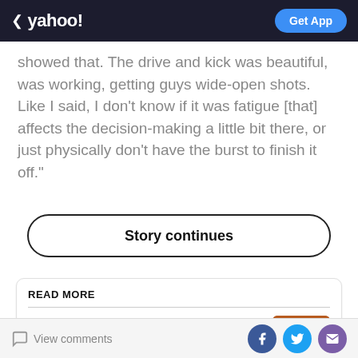yahoo! Get App
showed that. The drive and kick was beautiful, was working, getting guys wide-open shots. Like I said, I don't know if it was fatigue [that] affects the decision-making a little bit there, or just physically don't have the burst to finish it off."
Story continues
READ MORE
Deshaun Watson suspension increased to 11 games, receives largest player fine in NFL history in settlement
View comments